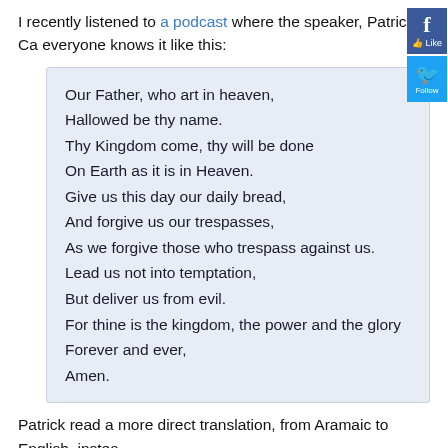I recently listened to a podcast where the speaker, Patrick Ca... everyone knows it like this:
Our Father, who art in heaven,
Hallowed be thy name.
Thy Kingdom come, thy will be done
On Earth as it is in Heaven.
Give us this day our daily bread,
And forgive us our trespasses,
As we forgive those who trespass against us.
Lead us not into temptation,
But deliver us from evil.
For thine is the kingdom, the power and the glory
Forever and ever,
Amen.
Patrick read a more direct translation, from Aramaic to English, instea...
O Cosmic Birther of all radiance and vibration,
Soften the ground of our being and carve out a space within us...